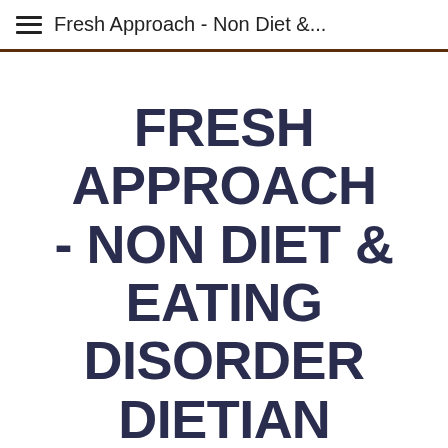Fresh Approach - Non Diet &...
FRESH APPROACH - NON DIET & EATING DISORDER DIETITIAN